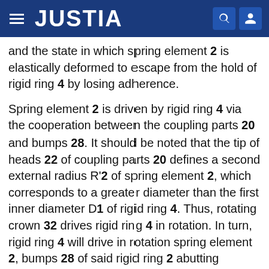JUSTIA
and the state in which spring element 2 is elastically deformed to escape from the hold of rigid ring 4 by losing adherence.
Spring element 2 is driven by rigid ring 4 via the cooperation between the coupling parts 20 and bumps 28. It should be noted that the tip of heads 22 of coupling parts 20 defines a second external radius R'2 of spring element 2, which corresponds to a greater diameter than the first inner diameter D1 of rigid ring 4. Thus, rotating crown 32 drives rigid ring 4 in rotation. In turn, rigid ring 4 will drive in rotation spring element 2, bumps 28 of said rigid ring 2 abutting against heads 22 of coupling parts 20. This is true until spring element 2 opposes a resistant torque such that coupling parts 20 are elastically deformed and the heads 22 thereof pass under bumps 28. At that moment, rigid ring 4 no longer